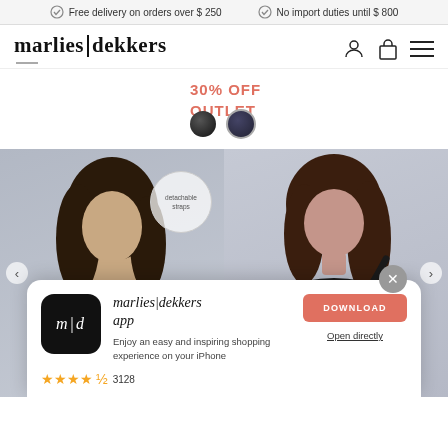Free delivery on orders over $ 250   No import duties until $ 800
[Figure (logo): marlies|dekkers brand logo]
30% OFF OUTLET
[Figure (photo): Two female models wearing black swimwear. Left model wears a strapless black swimsuit with gold detail and a 'detachable straps' badge. Right model wears a deep-V black swimsuit.]
[Figure (screenshot): App download popup for marlies|dekkers app. Shows app icon with m|d logo, title 'marlies|dekkers app', description 'Enjoy an easy and inspiring shopping experience on your iPhone', DOWNLOAD button, Open directly link, and star rating 3128.]